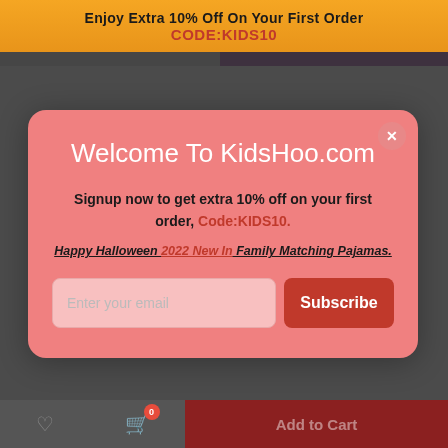Enjoy Extra 10% Off On Your First Order CODE:KIDS10
[Figure (screenshot): Background product image showing Halloween costumes]
Welcome To KidsHoo.com
Signup now to get extra 10% off on your first order, Code:KIDS10.
Happy Halloween 2022 New In Family Matching Pajamas.
Enter your email
Subscribe
Add to Cart